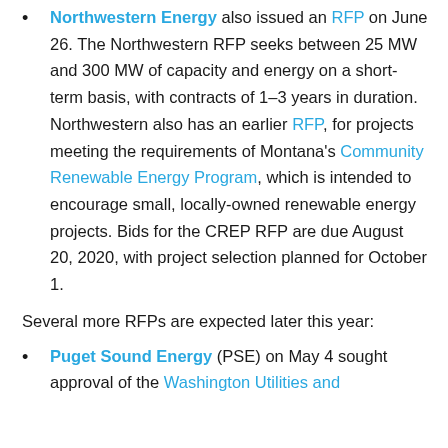Northwestern Energy also issued an RFP on June 26. The Northwestern RFP seeks between 25 MW and 300 MW of capacity and energy on a short-term basis, with contracts of 1–3 years in duration. Northwestern also has an earlier RFP, for projects meeting the requirements of Montana's Community Renewable Energy Program, which is intended to encourage small, locally-owned renewable energy projects. Bids for the CREP RFP are due August 20, 2020, with project selection planned for October 1.
Several more RFPs are expected later this year:
Puget Sound Energy (PSE) on May 4 sought approval of the Washington Utilities and